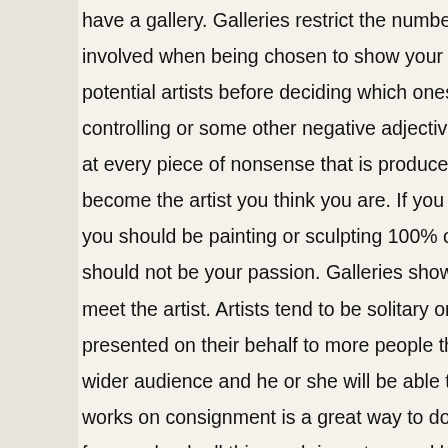have a gallery. Galleries restrict the number of artists they represent involved when being chosen to show your work in a gallery. A galler potential artists before deciding which ones have merit and deserve controlling or some other negative adjective to a marginal artist but at every piece of nonsense that is produced in the name of art. Havi become the artist you think you are. If you are spending half of your you should be painting or sculpting 100% of the time. You must be p should not be your passion. Galleries show the works to many pote meet the artist. Artists tend to be solitary or at least not the most gre presented on their behalf to more people than they would likely ever wider audience and he or she will be able to affect more people, wh works on consignment is a great way to do business because a gall few can bankroll this much inventory and look after operational expe can do this but regular galleries and artists work on a consignment b clients. It is this ability to give a choice which makes the system wor disadvantage to both artist and gallery. If only items which had been difficult to line up the right piece with the right client. This illustrates Galleries provide a web site that has a higher than average chance